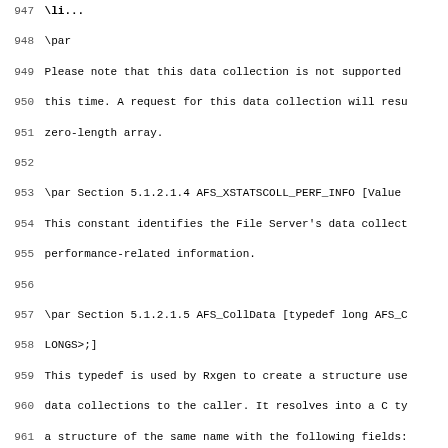947 \li...
948 \par
949 Please note that this data collection is not supported
950 this time. A request for this data collection will resu
951 zero-length array.
952
953 \par Section 5.1.2.1.4 AFS_XSTATSCOLL_PERF_INFO [Value
954 This constant identifies the File Server's data collect
955 performance-related information.
956
957 \par Section 5.1.2.1.5 AFS_CollData [typedef long AFS_C
958 LONGS>;]
959 This typedef is used by Rxgen to create a structure use
960 data collections to the caller. It resolves into a C ty
961 a structure of the same name with the following fields:
962 \n \b Fields
963 \li u int AFS_CollData_len - The number of longwords co
964 pointed to by the next field.
965 \li long *AFS_CollData_val - A pointer to a sequence of
966 long-words.
967
968 \par Section 5.1.2.1.6 AFSBulkStats [typedef AFSFetchSt
969 AFSBulkStats<AFSCBMAX>;]
970 This typedef is used by Rxgen to create a structure use
971 statistics structures, as described in the RXAFS_BulkSt
972 Section 5.1.3.21. It resolves into a C typedef statemen
973 of the same name with the following fields:
974 \n \b Fields
975 \li u int AFSBulkStats_len - The number of struct AFSFe
976 contained within the data to which the next field point
977 \li AFSFetchStatus *AFSBulkStats_val - This field house
978 of AFSBulkStats_len units of type struct AFSFetchStatus
979